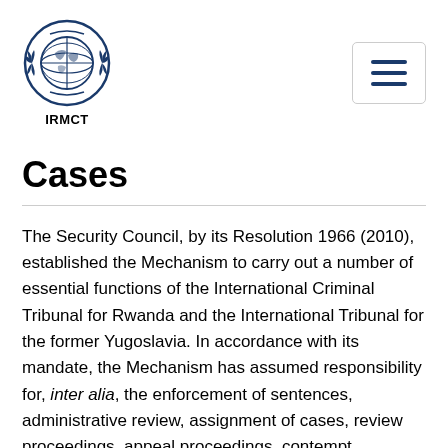[Figure (logo): UN IRMCT logo — United Nations emblem (globe with olive branches) above the text IRMCT]
Cases
The Security Council, by its Resolution 1966 (2010), established the Mechanism to carry out a number of essential functions of the International Criminal Tribunal for Rwanda and the International Tribunal for the former Yugoslavia. In accordance with its mandate, the Mechanism has assumed responsibility for, inter alia, the enforcement of sentences, administrative review, assignment of cases, review proceedings, appeal proceedings, contempt, requests for revocation of the